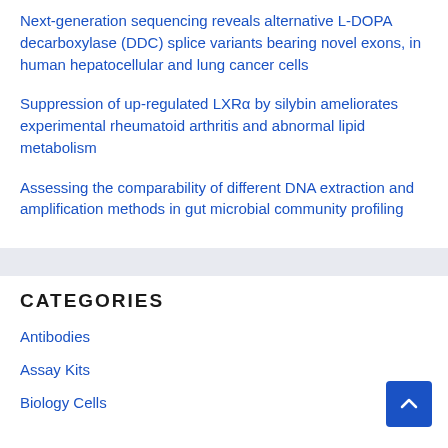Next-generation sequencing reveals alternative L-DOPA decarboxylase (DDC) splice variants bearing novel exons, in human hepatocellular and lung cancer cells
Suppression of up-regulated LXRα by silybin ameliorates experimental rheumatoid arthritis and abnormal lipid metabolism
Assessing the comparability of different DNA extraction and amplification methods in gut microbial community profiling
CATEGORIES
Antibodies
Assay Kits
Biology Cells